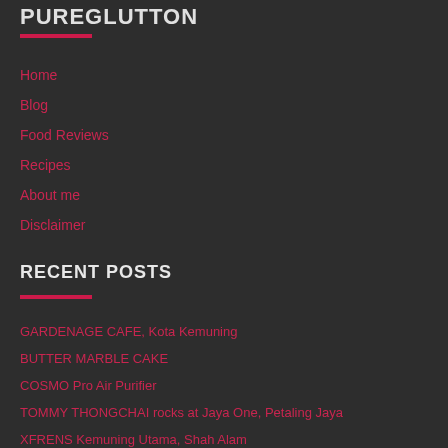PUREGLUTTON
Home
Blog
Food Reviews
Recipes
About me
Disclaimer
RECENT POSTS
GARDENAGE CAFE, Kota Kemuning
BUTTER MARBLE CAKE
COSMO Pro Air Purifier
TOMMY THONGCHAI rocks at Jaya One, Petaling Jaya
XFRENS Kemuning Utama, Shah Alam